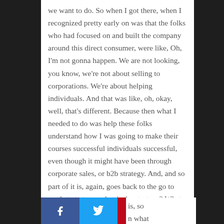we want to do. So when I got there, when I recognized pretty early on was that the folks who had focused on and built the company around this direct consumer, were like, Oh, I'm not gonna happen. We are not looking, you know, we're not about selling to corporations. We're about helping individuals. And that was like, oh, okay, well, that's different. Because then what I needed to do was help these folks understand how I was going to make their courses successful individuals successful, even though it might have been through corporate sales, or b2b strategy. And, and so part of it is, again, goes back to the go to market strategy, what is the strategy? What is the overall corporate strategy, is, so n what